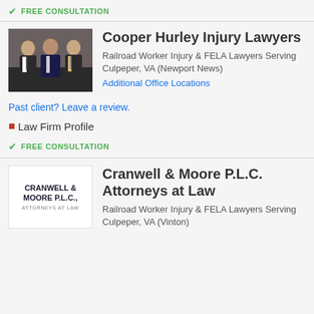FREE CONSULTATION
[Figure (photo): Group photo of three men in suits standing together in a law office setting]
Cooper Hurley Injury Lawyers
Railroad Worker Injury & FELA Lawyers Serving Culpeper, VA (Newport News)
Additional Office Locations
Past client? Leave a review.
Law Firm Profile
FREE CONSULTATION
[Figure (logo): Cranwell & Moore P.L.C., Attorneys at Law logo]
Cranwell & Moore P.L.C. Attorneys at Law
Railroad Worker Injury & FELA Lawyers Serving Culpeper, VA (Vinton)